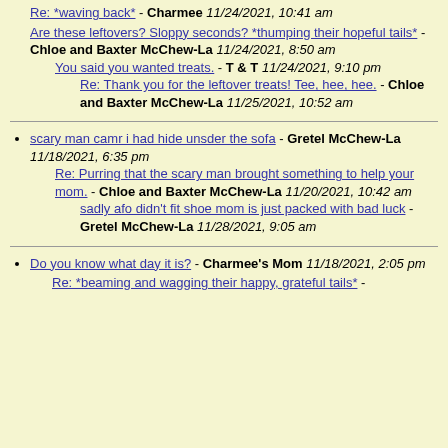Re: *waving back* - Charmee 11/24/2021, 10:41 am
Are these leftovers? Sloppy seconds? *thumping their hopeful tails* - Chloe and Baxter McChew-La 11/24/2021, 8:50 am
You said you wanted treats. - T & T 11/24/2021, 9:10 pm
Re: Thank you for the leftover treats! Tee, hee, hee. - Chloe and Baxter McChew-La 11/25/2021, 10:52 am
scary man camr i had hide unsder the sofa - Gretel McChew-La 11/18/2021, 6:35 pm
Re: Purring that the scary man brought something to help your mom. - Chloe and Baxter McChew-La 11/20/2021, 10:42 am
sadly afo didn't fit shoe mom is just packed with bad luck - Gretel McChew-La 11/28/2021, 9:05 am
Do you know what day it is? - Charmee's Mom 11/18/2021, 2:05 pm
Re: *beaming and wagging their happy, grateful tails* -